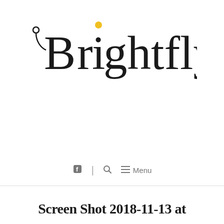[Figure (logo): Brightfly logo with stylized letterforms: a small circle and curved line before 'B', yellow 'i' dot, rest in black. Large serif-style font.]
f  |  🔍  ≡ Menu
Screen Shot 2018-11-13 at